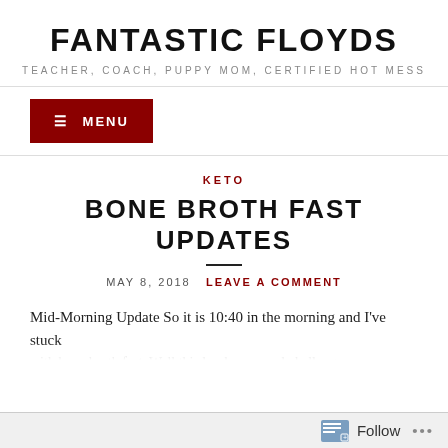FANTASTIC FLOYDS
TEACHER, COACH, PUPPY MOM, CERTIFIED HOT MESS
☰ MENU
KETO
BONE BROTH FAST UPDATES
MAY 8, 2018   LEAVE A COMMENT
Mid-Morning Update So it is 10:40 in the morning and I've stuck
Follow